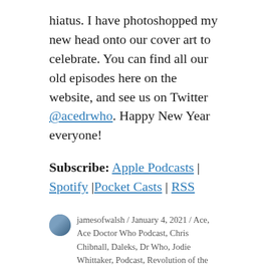hiatus. I have photoshopped my new head onto our cover art to celebrate. You can find all our old episodes here on the website, and see us on Twitter @acedrwho. Happy New Year everyone!
Subscribe: Apple Podcasts | Spotify | Pocket Casts | RSS
jamesofwalsh / January 4, 2021 / Ace, Ace Doctor Who Podcast, Chris Chibnall, Daleks, Dr Who, Jodie Whittaker, Podcast, Revolution of the Daleks / Leave a comment
Ace Doctor Who Podcast Episode #15: Can You Hear Me?